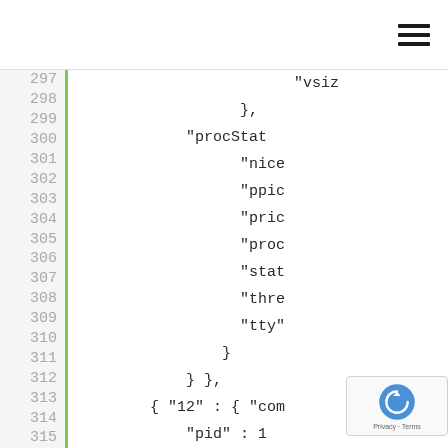[Figure (screenshot): Top navigation bar with hamburger menu icon (three horizontal lines) on the right side]
297  "vsiz
298      },
299  "procStat
300          "nice
301          "ppic
302          "pric
303          "proc
304          "stat
305          "thre
306          "tty"
307      }
308  } },
309  { "12" : { "com
310          "pid" : 1
311          "procCpu"
312              "pe
313              "si
314              "sy
315          "tota